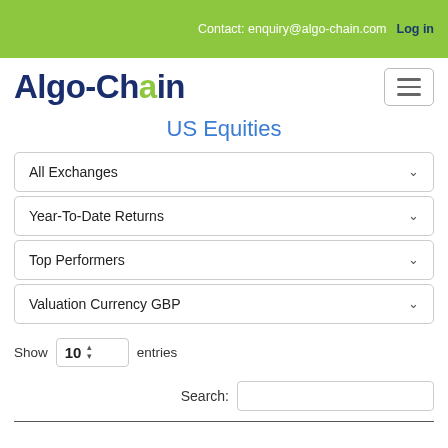Contact: enquiry@algo-chain.com  Log in
[Figure (logo): Algo-Chain logo with dark blue text and green 'a' letter]
US Equities
All Exchanges
Year-To-Date Returns
Top Performers
Valuation Currency GBP
Show 10 entries
Search: